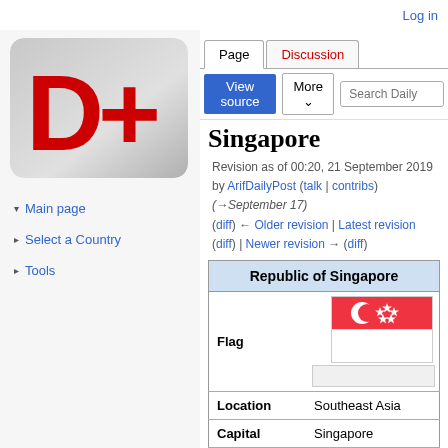Log in
[Figure (logo): D+ logo: large red bold D+ on gray gradient rounded rectangle background]
▾ Main page
▸ Select a Country
▸ Tools
Singapore
Revision as of 00:20, 21 September 2019 by ArifDailyPost (talk | contribs) (→September 17)
(diff) ← Older revision | Latest revision (diff) | Newer revision → (diff)
| Republic of Singapore |
| --- |
| Flag |  |
| Location | Southeast Asia |
| Capital | Singapore |
| Area | 697 sq km |
| Population | 5,995,991 |
"A nod's as good